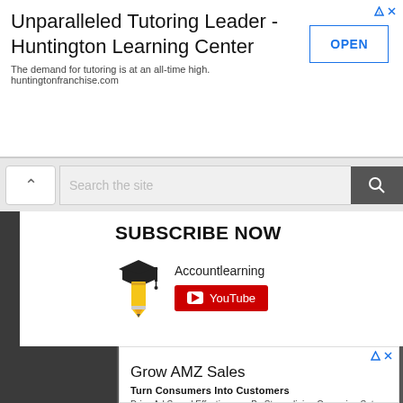[Figure (screenshot): Top advertisement banner for Huntington Learning Center with OPEN button]
Unparalleled Tutoring Leader - Huntington Learning Center
The demand for tutoring is at an all-time high. huntingtonfranchise.com
[Figure (screenshot): Search bar with back arrow button and search icon]
SUBSCRIBE NOW
[Figure (logo): Accountlearning pencil with graduation cap logo]
Accountlearning
[Figure (screenshot): YouTube subscribe button in red]
[Figure (screenshot): Advertisement for Grow AMZ Sales / channeladvisor.com]
Grow AMZ Sales
Turn Consumers Into Customers
Drive Ad Spend Effectiveness By Streamlining Campaign Setup, Management And Tracking
channeladvisor.com